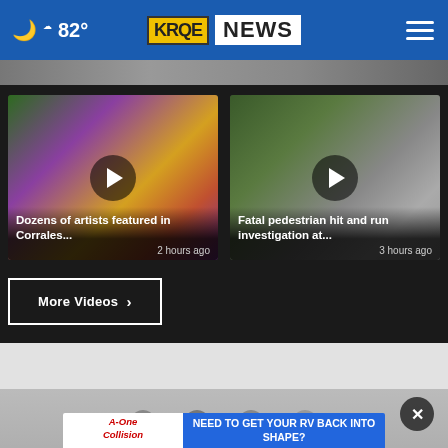☁ 82° KRQE NEWS
[Figure (screenshot): Hero image strip — partial blurred photo]
[Figure (screenshot): Video thumbnail: Dozens of artists featured in Corrales... — 2 hours ago]
Dozens of artists featured in Corrales...
2 hours ago
[Figure (screenshot): Video thumbnail: Fatal pedestrian hit and run investigation at... — 3 hours ago]
Fatal pedestrian hit and run investigation at...
3 hours ago
[Figure (screenshot): Partial video thumbnail: 1 man north...]
1 man nort...
More Videos ›
[Figure (screenshot): People photo at bottom of page, partially visible]
[Figure (infographic): A-One Collision advertisement banner: NEED TO GET YOUR RV BACK INTO SHAPE? WE ARE YOUR COMPLETE RV COLLISION SHOP]